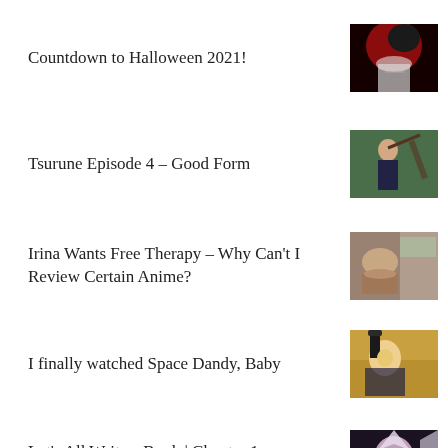Countdown to Halloween 2021!
Tsurune Episode 4 – Good Form
Irina Wants Free Therapy – Why Can't I Review Certain Anime?
I finally watched Space Dandy, Baby
Let's All Write a Book | Chapter 1 – ...